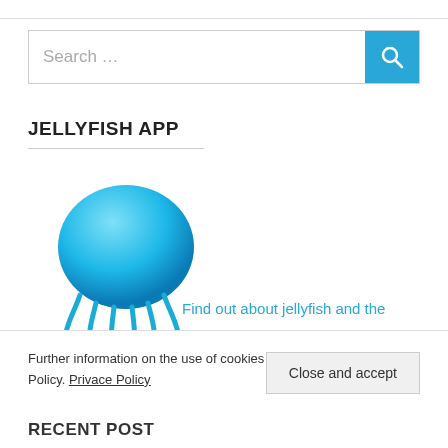Search …
JELLYFISH APP
[Figure (illustration): Blue jellyfish logo/icon with rounded dome body and trailing tentacles]
Find out about jellyfish and the
Further information on the use of cookies is set out in our Privacy Policy. Privace Policy
Close and accept
RECENT POST